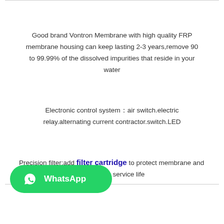Good brand Vontron Membrane with high quality FRP membrane housing can keep lasting 2-3 years,remove 90 to 99.99% of the dissolved impurities that reside in your water
Electronic control system：air switch.electric relay.alternating current contractor.switch.LED
Precision filter:add filter cartridge to protect membrane and extend membrane service life
[Figure (logo): WhatsApp button - green rounded button with WhatsApp logo and text 'WhatsApp']